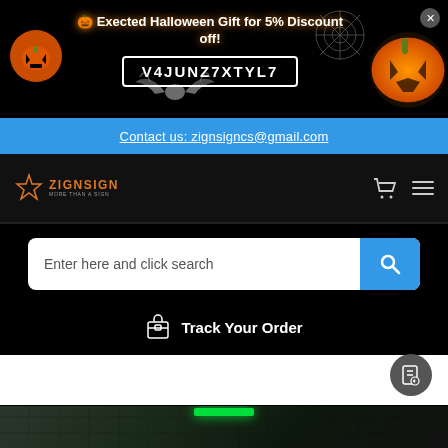[Figure (screenshot): Halloween promotional banner with pumpkin mascot on left, text '🎃 Exected Halloween Gift for 5% Discount off!' in center with coupon code 'V4JUNZ7XTYL7', glowing jack-o-lantern pumpkin on right, black background with bat decorations]
Contact us: zignsigncs@gmail.com
[Figure (logo): ZIGNSIGN logo with orange star on left and text MORE THAN A SIGN]
Enter here and click search
📦 Track Your Order
[Figure (photo): Product photo showing illuminated sign or display with green LED lighting on stone/concrete wall background, dark outdoor setting]